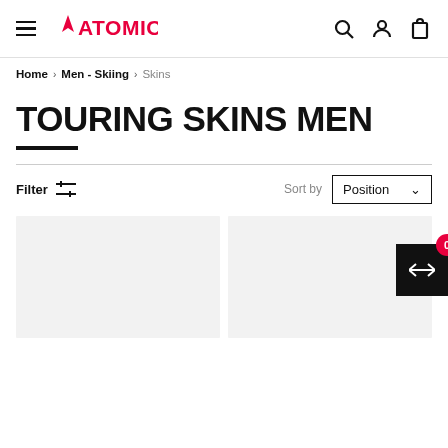Atomic — navigation header with hamburger menu, logo, search, account, and cart icons
Home › Men - Skiing › Skins
TOURING SKINS MEN
Filter  |  Sort by  Position
[Figure (screenshot): Two product card placeholders (light grey rectangles) in a product grid, with a compare button (black square, 0 badge in red) in the bottom right.]